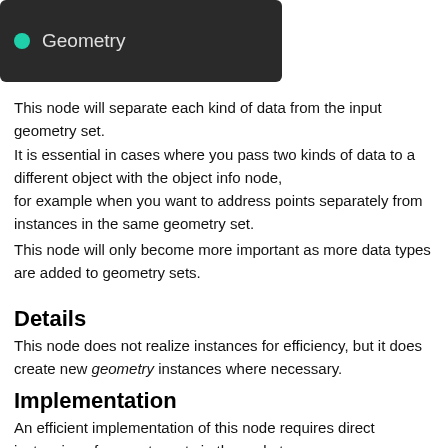[Figure (screenshot): Dark rounded rectangle showing a node labeled 'Geometry' with a teal circle icon on the left]
This node will separate each kind of data from the input geometry set.
It is essential in cases where you pass two kinds of data to a different object with the object info node,
for example when you want to address points separately from instances in the same geometry set.
This node will only become more important as more data types are added to geometry sets.
Details
This node does not realize instances for efficiency, but it does create new geometry instances where necessary.
Implementation
An efficient implementation of this node requires direct instancing of geometry sets in the node tree.